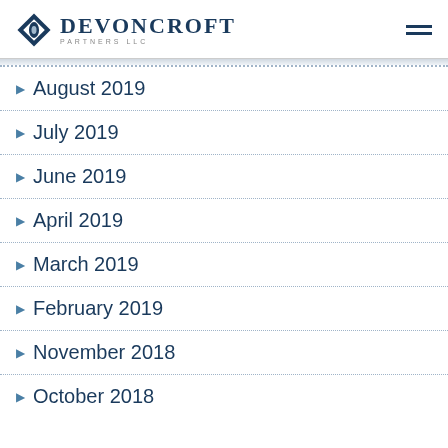Devoncroft Partners LLC
August 2019
July 2019
June 2019
April 2019
March 2019
February 2019
November 2018
October 2018